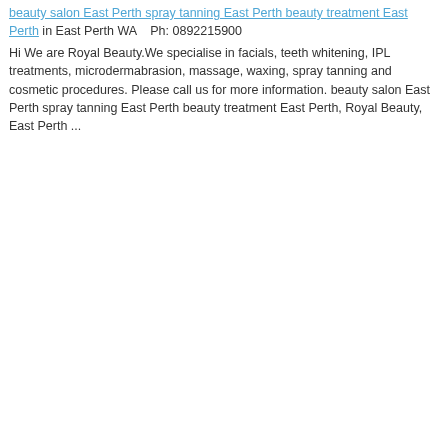beauty salon East Perth spray tanning East Perth beauty treatment East Perth in East Perth WA    Ph: 0892215900
Hi We are Royal Beauty.We specialise in facials, teeth whitening, IPL treatments, microdermabrasion, massage, waxing, spray tanning and cosmetic procedures. Please call us for more information. beauty salon East Perth spray tanning East Perth beauty treatment East Perth, Royal Beauty, East Perth ...